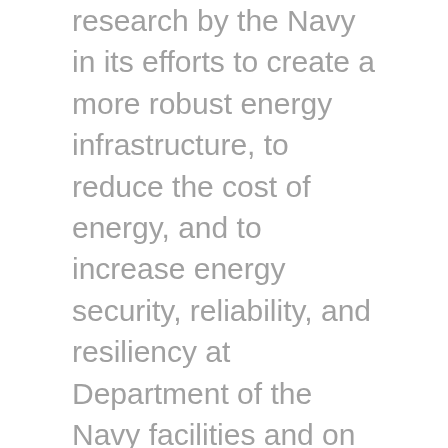research by the Navy in its efforts to create a more robust energy infrastructure, to reduce the cost of energy, and to increase energy security, reliability, and resiliency at Department of the Navy facilities and on naval platforms. A broader range of experimentation, prototyping, and development is necessary for future naval capabilities related to powering maritime systems, at-sea persistent surveillance and communications systems, and unmanned undersea vehicle charging. The Committee encourages the Secretary of the Navy to partner with universities, affiliated research facilities, and other federal agencies to conduct research on electrical power intermittency, integrating